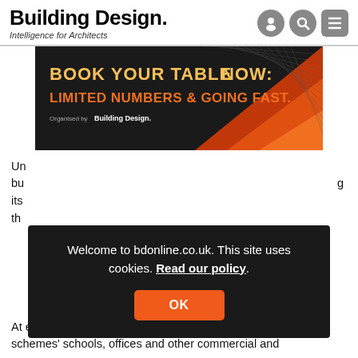Building Design. Intelligence for Architects
[Figure (screenshot): Dark advertisement banner with orange text: 'BOOK YOUR TABLE NOW. LIMITED NUMBERS & GOING FAST.' Organised by Building Design. Orange and dark geometric design on right side.]
Un... bu... g its... th...
Welcome to bdonline.co.uk. This site uses cookies. Read our policy.
OK
At each site it also appoints architects directly to design the schemes' schools, offices and other commercial and